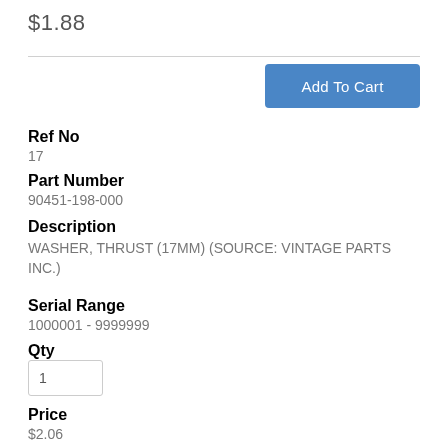$1.88
Add To Cart
Ref No
17
Part Number
90451-198-000
Description
WASHER, THRUST (17MM) (SOURCE: VINTAGE PARTS INC.)
Serial Range
1000001 - 9999999
Qty
1
Price
$2.06
Add To Cart
Ref No